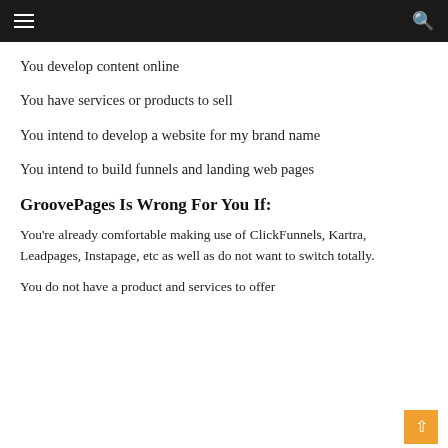Navigation bar with hamburger menu and search icon
You develop content online
You have services or products to sell
You intend to develop a website for my brand name
You intend to build funnels and landing web pages
GroovePages Is Wrong For You If:
You're already comfortable making use of ClickFunnels, Kartra, Leadpages, Instapage, etc as well as do not want to switch totally.
You do not have a product and services to offer